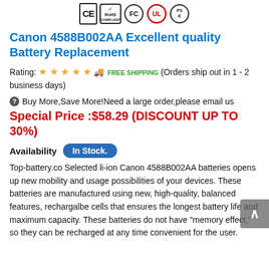[Figure (logo): Certification badges: CE, RoHS Compliant (with green checkmark), FCC, UL (red circle), PSE (circle with E)]
Canon 4588B002AA Excellent quality Battery Replacement
Rating: ★★★★★ 🚚 FREE SHIPPING (Orders ship out in 1 - 2 business days)
❓Buy More,Save More!Need a large order,please email us
Special Price :$58.29 (DISCOUNT UP TO 30%)
Availability  In Stock.
Top-battery.co Selected li-ion Canon 4588B002AA batteries opens up new mobility and usage possibilities of your devices. These batteries are manufactured using new, high-quality, balanced features, rechargalbe cells that ensures the longest battery life and maximum capacity. These batteries do not have "memory effect," so they can be recharged at any time convenient for the user.